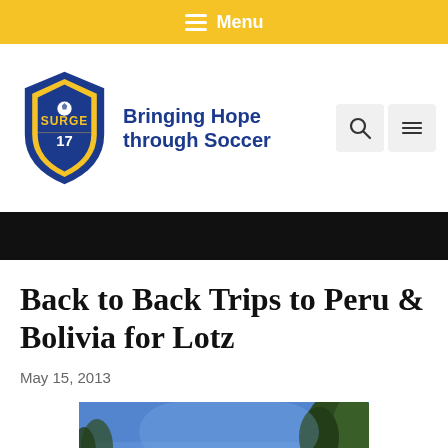Menu
[Figure (logo): Surge 17 soccer organization logo — blue shield with yellow accents and soccer ball, with text 'Bringing Hope through Soccer']
Back to Back Trips to Peru & Bolivia for Lotz
May 15, 2013
[Figure (photo): Outdoor photo showing blue sky and trees at top of image]